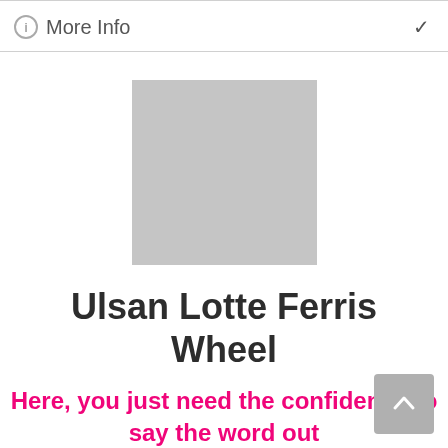More Info
[Figure (photo): Gray placeholder image square]
Ulsan Lotte Ferris Wheel
Here, you just need the confidence to say the word out